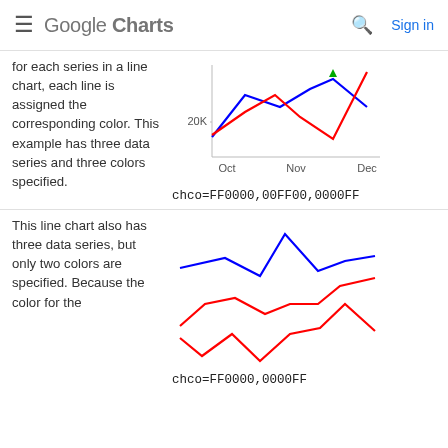Google Charts  Sign in
for each series in a line chart, each line is assigned the corresponding color. This example has three data series and three colors specified.
[Figure (line-chart): Line chart with three series: red, blue, green lines over Oct, Nov, Dec with 20K y-axis label]
chco=FF0000,00FF00,0000FF
This line chart also has three data series, but only two colors are specified. Because the color for the
[Figure (line-chart): Line chart with two visible series: blue and red lines, no axis labels]
chco=FF0000,0000FF